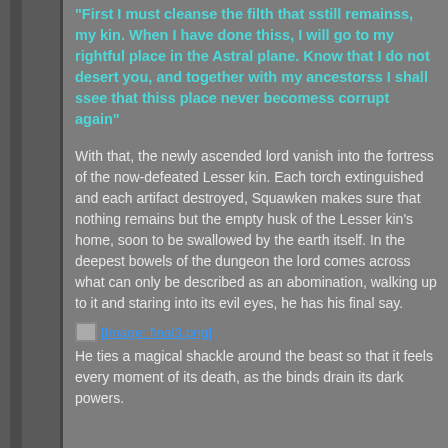"First I must cleanse the filth that sstill remainss, my kin. When I have done thiss, I will go to my rightful place in the Astral plane. Know that I do not desert you, and together with my ancestorss I shall ssee that thiss place never becomess corrupt again"
With that, the newly ascended lord vanish into the fortress of the now-defeated Lesser kin. Each torch extinguished and each artifact destroyed, Squawken makes sure that nothing remains but the empty husk of the Lesser kin's home, soon to be swallowed by the earth itself. In the deepest bowels of the dungeon the lord comes across what can only be described as an abomination, walking up to it and staring into its evil eyes, he has his final say.
[Figure (other): Broken image placeholder labeled [Image: final3.png]]
He ties a magical shackle around the beast so that it feels every moment of its death, as the binds drain its dark powers.